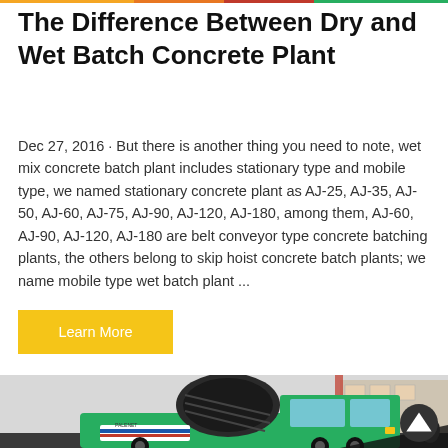The Difference Between Dry and Wet Batch Concrete Plant
Dec 27, 2016 · But there is another thing you need to note, wet mix concrete batch plant includes stationary type and mobile type, we named stationary concrete plant as AJ-25, AJ-35, AJ-50, AJ-60, AJ-75, AJ-90, AJ-120, AJ-180, among them, AJ-60, AJ-90, AJ-120, AJ-180 are belt conveyor type concrete batching plants, the others belong to skip hoist concrete batch plants; we name mobile type wet batch plant ...
Learn More
[Figure (photo): A green concrete mixer truck (PALENET brand) with a large black mixing drum, photographed in an industrial yard with buildings in the background.]